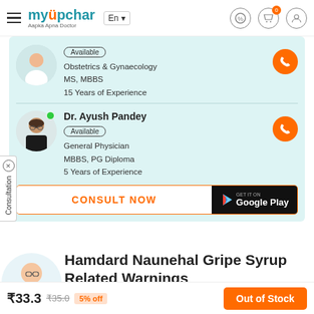myUpchar - Aapka Apna Doctor
[Figure (screenshot): Doctor listing panel showing two doctors available for consultation on myUpchar platform]
Available | Obstetrics & Gynaecology | MS, MBBS | 15 Years of Experience
Dr. Ayush Pandey | Available | General Physician | MBBS, PG Diploma | 5 Years of Experience
CONSULT NOW | GET IT ON Google Play
Hamdard Naunehal Gripe Syrup Related Warnings
Is the use of Hamdard Naunehal Gripe Syrup safe for
₹33.3  ₹35.0  5% off  Out of Stock